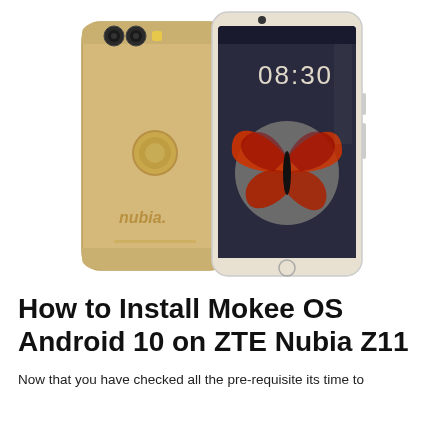[Figure (photo): Photo of two ZTE Nubia Z11 smartphones shown from the back and front. The back phone is gold-colored with dual cameras and a fingerprint sensor, showing the 'nubia.' logo. The front phone shows a lock screen with time 08:30 and a red butterfly wallpaper.]
How to Install Mokee OS Android 10 on ZTE Nubia Z11
Now that you have checked all the pre-requisite its time to